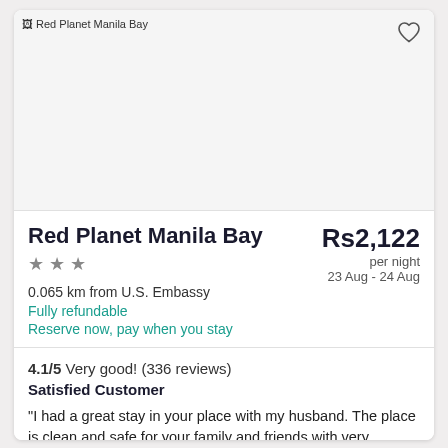[Figure (photo): Hotel image placeholder for Red Planet Manila Bay — white/light grey background with alt text visible]
Red Planet Manila Bay
★★★
Rs2,122 per night
23 Aug - 24 Aug
0.065 km from U.S. Embassy
Fully refundable
Reserve now, pay when you stay
4.1/5 Very good! (336 reviews)
Satisfied Customer
"I had a great stay in your place with my husband. The place is clean and safe for your family and friends with very accommodating staff and security guard."